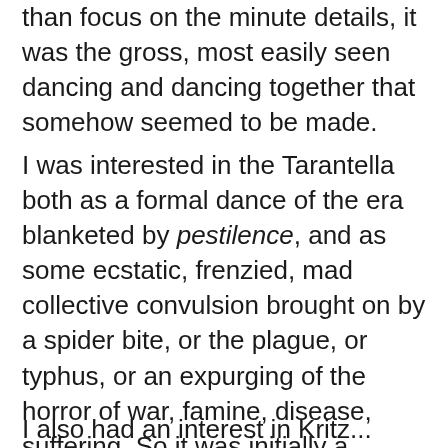than focus on the minute details, it was the gross, most easily seen dancing and dancing together that somehow seemed to be made.
I was interested in the Tarantella both as a formal dance of the era blanketed by pestilence, and as some ecstatic, frenzied, mad collective convulsion brought on by a spider bite, or the plague, or typhus, or an expurging of the horror of war, famine, disease, suffering. So it was initially a retinue of corporeal, digestive and pulmonary spasms, we'd do and video and watch and criticise and repeat, eventually to make something consistent between us.
I also had an interest in Kriss...